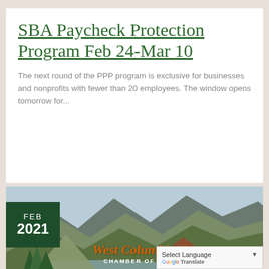SBA Paycheck Protection Program Feb 24-Mar 10
The next round of the PPP program is exclusive for businesses and nonprofits with fewer than 20 employees. The window opens tomorrow for...
[Figure (illustration): West Columbia Gorge Chamber of Commerce illustrated banner with mountains, trees, river, and forest scenery. Dark green date badge in upper left showing FEB 2021. Chamber name in orange italic text with white subtitle text.]